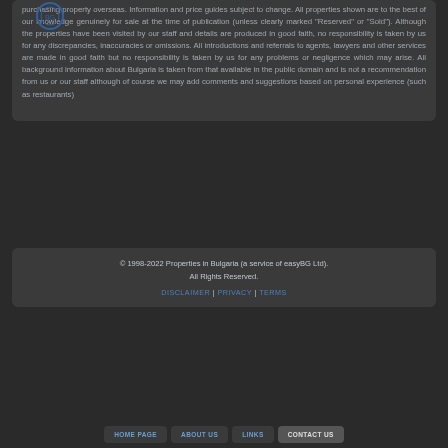purchasing property overseas. Information and price guides subject to change. All properties shown are to the best of our knowledge genuinely for sale at the time of publication (unless clearly marked "Reserved" or "Sold"). Although the properties have been visited by our staff and details are produced in good faith, no responsibility is taken by us for any discrepancies, inaccuracies or omissions. All introductions and referrals to agents, lawyers and other services are made in good faith but no responsibility is taken by us for any problems or negligence which may arise. All background information about Bulgaria is taken from that available in the public domain and is not a recommendation from us or our staff although of course we may add comments and suggestions based on personal experience (such as restaurants)
© 1998-2022 Properties in Bulgaria (a service of easyBG Ltd). All Rights Reserved.
DISCLAIMER | PRIVACY | TERMS
HOME PAGE | ABOUT US | LINKS | CONTACT US